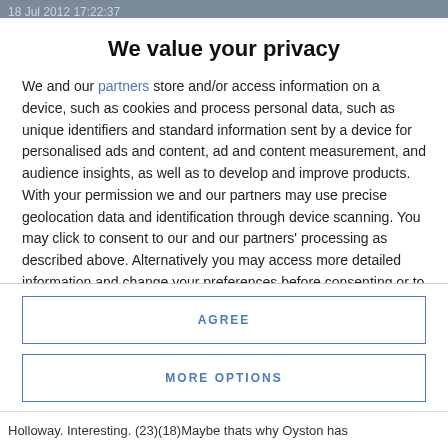18 Jul 2012 17:22:37
We value your privacy
We and our partners store and/or access information on a device, such as cookies and process personal data, such as unique identifiers and standard information sent by a device for personalised ads and content, ad and content measurement, and audience insights, as well as to develop and improve products. With your permission we and our partners may use precise geolocation data and identification through device scanning. You may click to consent to our and our partners' processing as described above. Alternatively you may access more detailed information and change your preferences before consenting or to refuse consenting. Please note that some processing of your personal data may not require your consent, but you have a right to
AGREE
MORE OPTIONS
Holloway. Interesting. (23)(18)Maybe thats why Oyston has